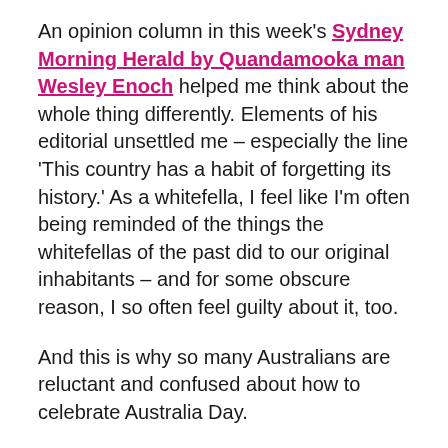An opinion column in this week's Sydney Morning Herald by Quandamooka man Wesley Enoch helped me think about the whole thing differently. Elements of his editorial unsettled me – especially the line 'This country has a habit of forgetting its history.' As a whitefella, I feel like I'm often being reminded of the things the whitefellas of the past did to our original inhabitants – and for some obscure reason, I so often feel guilty about it, too.
And this is why so many Australians are reluctant and confused about how to celebrate Australia Day.
In his column Enoch also makes mention of 'a new tradition forming on the evening of January 25 as we gather to reflect on the Indigenous history of